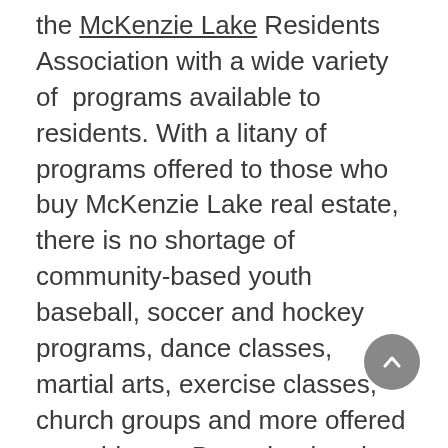the McKenzie Lake Residents Association with a wide variety of programs available to residents. With a litany of programs offered to those who buy McKenzie Lake real estate, there is no shortage of community-based youth baseball, soccer and hockey programs, dance classes, martial arts, exercise classes, church groups and more offered to residents.  Pre-school and after-school programs are also offered.
The McKenzie Lake Residents Association is a non-profit organization that works year-round to provide a wide array of recreational services, programs and facilities for its members and their ...